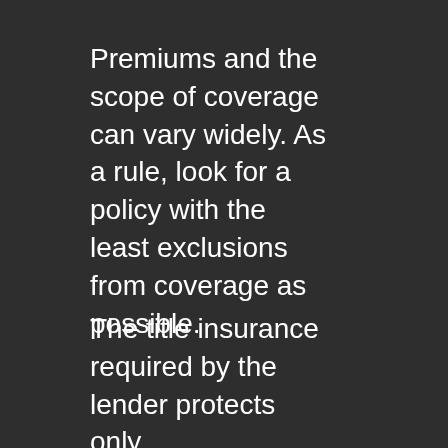Premiums and the scope of coverage can vary widely. As a rule, look for a policy with the least exclusions from coverage as possible.
The title insurance required by the lender protects only